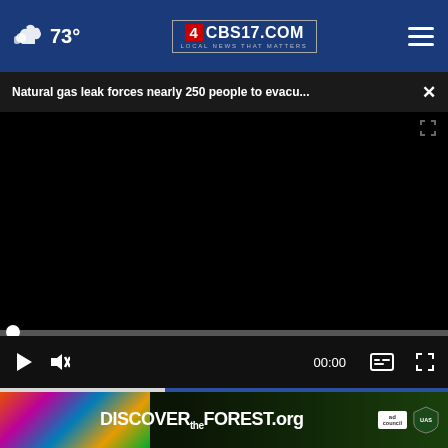73° CBS17.COM LOCAL NEWS THAT MATTERS
Natural gas leak forces nearly 250 people to evacu...
[Figure (screenshot): Video player with black screen, progress bar at start (00:00), play button, mute button, timestamp 00:00, captions button, and fullscreen button on dark control bar.]
[Figure (screenshot): Partial advertisement overlay: blue band with close (x) button, and Discover the Forest .org ad banner with colorful flowers on left, text in white, Ad Council and USDA Forest Service logos on right.]